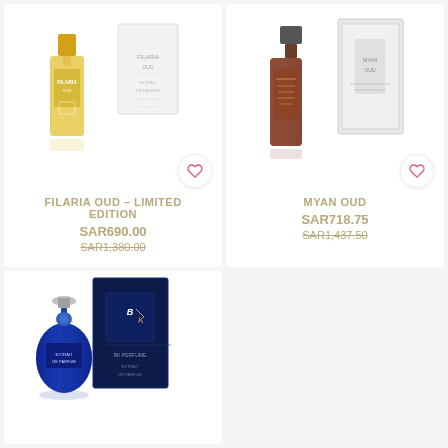[Figure (photo): Filaria Oud Limited Edition perfume bottle (golden yellow) with white box packaging]
FILARIA OUD - LIMITED EDITION
SAR690.00
SAR1,380.00
[Figure (photo): Myan Oud perfume bottle (dark brown/amber) with white/silver box packaging]
MYAN OUD
SAR718.75
SAR1,437.50
[Figure (photo): Blue perfume bottle with BK branding and dark navy box, Extrait de Parfum]